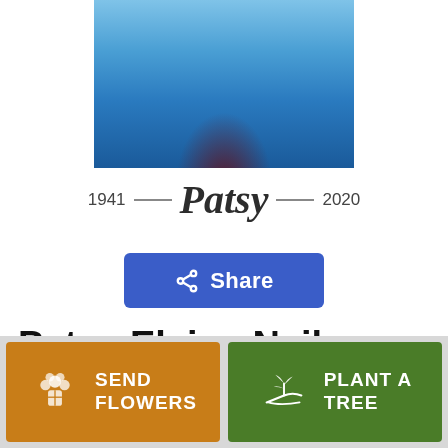[Figure (photo): Portrait photo of a person wearing a blue denim jacket, cropped at top of page]
1941 — Patsy — 2020
Share
Patsy Elaine Neilson Jackman
SEND FLOWERS
PLANT A TREE